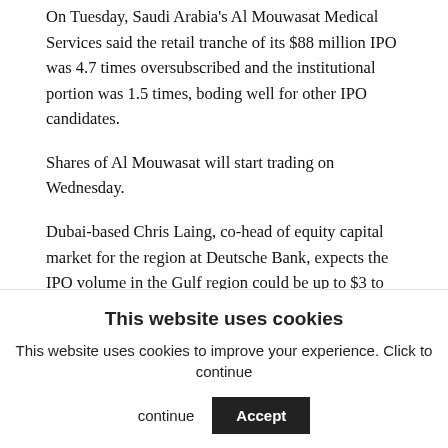On Tuesday, Saudi Arabia's Al Mouwasat Medical Services said the retail tranche of its $88 million IPO was 4.7 times oversubscribed and the institutional portion was 1.5 times, boding well for other IPO candidates.
Shares of Al Mouwasat will start trading on Wednesday.
Dubai-based Chris Laing, co-head of equity capital market for the region at Deutsche Bank, expects the IPO volume in the Gulf region could be up to $3 to $4 billion this year — about one third the volumes seen in 2008 and 2007.
A raft of companies have already announced their
This website uses cookies
This website uses cookies to improve your experience. Click to continue
Accept